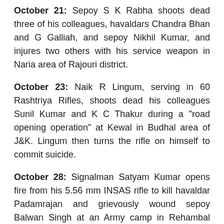October 21: Sepoy S K Rabha shoots dead three of his colleagues, havaldars Chandra Bhan and G Galliah, and sepoy Nikhil Kumar, and injures two others with his service weapon in Naria area of Rajouri district.
October 23: Naik R Lingum, serving in 60 Rashtriya Rifles, shoots dead his colleagues Sunil Kumar and K C Thakur during a "road opening operation" at Kewal in Budhal area of J&K. Lingum then turns the rifle on himself to commit suicide.
October 28: Signalman Satyam Kumar opens fire from his 5.56 mm INSAS rifle to kill havaldar Padamrajan and grievously wound sepoy Balwan Singh at an Army camp in Rehambal area in Udhampur district.
The Army may not like to admit it but the mental stress and physical fatigue under which its soldiers work in counter-